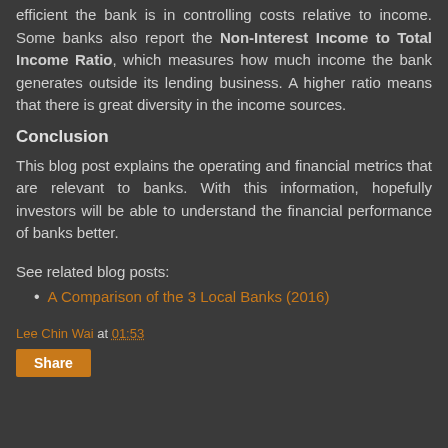efficient the bank is in controlling costs relative to income. Some banks also report the Non-Interest Income to Total Income Ratio, which measures how much income the bank generates outside its lending business. A higher ratio means that there is great diversity in the income sources.
Conclusion
This blog post explains the operating and financial metrics that are relevant to banks. With this information, hopefully investors will be able to understand the financial performance of banks better.
See related blog posts:
A Comparison of the 3 Local Banks (2016)
Lee Chin Wai at 01:53
Share